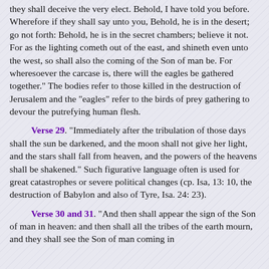they shall deceive the very elect. Behold, I have told you before. Wherefore if they shall say unto you, Behold, he is in the desert; go not forth: Behold, he is in the secret chambers; believe it not. For as the lighting cometh out of the east, and shineth even unto the west, so shall also the coming of the Son of man be. For wheresoever the carcase is, there will the eagles be gathered together." The bodies refer to those killed in the destruction of Jerusalem and the "eagles" refer to the birds of prey gathering to devour the putrefying human flesh.
Verse 29. "Immediately after the tribulation of those days shall the sun be darkened, and the moon shall not give her light, and the stars shall fall from heaven, and the powers of the heavens shall be shakened." Such figurative language often is used for great catastrophes or severe political changes (cp. Isa, 13: 10, the destruction of Babylon and also of Tyre, Isa. 24: 23).
Verse 30 and 31. "And then shall appear the sign of the Son of man in heaven: and then shall all the tribes of the earth mourn, and they shall see the Son of man coming in